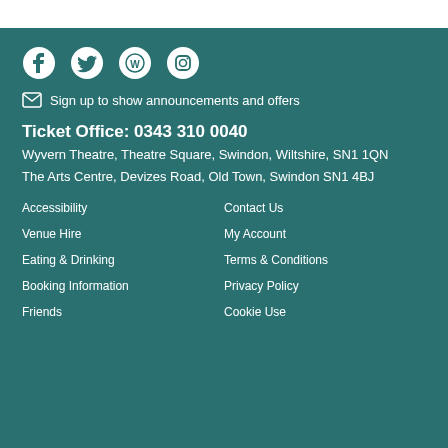[Figure (infographic): Social media icons: Facebook, Twitter, WordPress, Instagram on teal background]
Sign up to show announcements and offers
Ticket Office: 0343 310 0040
Wyvern Theatre, Theatre Square, Swindon, Wiltshire, SN1 1QN
The Arts Centre, Devizes Road, Old Town, Swindon SN1 4BJ
Accessibility
Contact Us
Venue Hire
My Account
Eating & Drinking
Terms & Conditions
Booking Information
Privacy Policy
Friends
Cookie Use